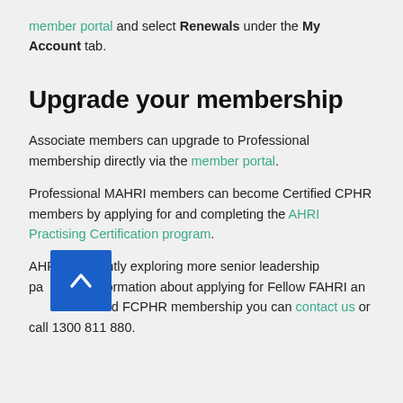member portal and select Renewals under the My Account tab.
Upgrade your membership
Associate members can upgrade to Professional membership directly via the member portal.
Professional MAHRI members can become Certified CPHR members by applying for and completing the AHRI Practising Certification program.
AHRI is currently exploring more senior leadership pathways. Information about applying for Fellow FAHRI and Fellow Certified FCPHR membership you can contact us or call 1300 811 880.